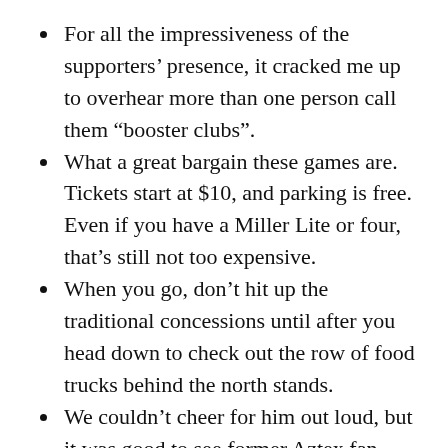For all the impressiveness of the supporters' presence, it cracked me up to overhear more than one person call them “booster clubs”.
What a great bargain these games are. Tickets start at $10, and parking is free. Even if you have a Miller Lite or four, that’s still not too expensive.
When you go, don’t hit up the traditional concessions until after you head down to check out the row of food trucks behind the north stands.
We couldn’t cheer for him out loud, but it was good to see former Aztex fan favorite